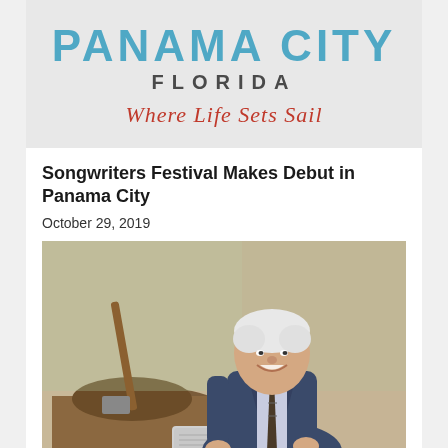[Figure (logo): Panama City Florida logo with tagline 'Where Life Sets Sail']
Songwriters Festival Makes Debut in Panama City
October 29, 2019
[Figure (photo): Man in a suit crouching next to a shovel and a plaque near freshly dug earth, outdoors]